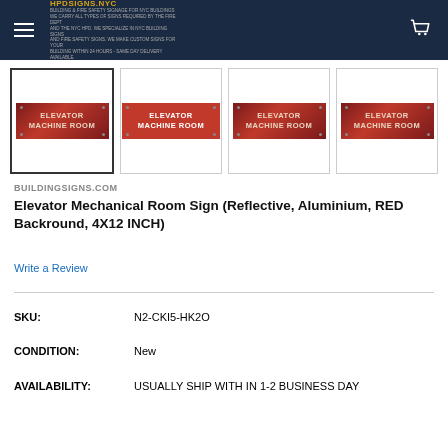HPDSIGNS.NYC
[Figure (photo): Four thumbnail images of Elevator Machine Room signs with red background and white/metallic text]
BUILDINGSIGNS.COM
Elevator Mechanical Room Sign (Reflective, Aluminium, RED Backround, 4X12 INCH)
Write a Review
| SKU: | N2-CKI5-HK2O |
| CONDITION: | New |
| AVAILABILITY: | USUALLY SHIP WITH IN 1-2 BUSINESS DAY |